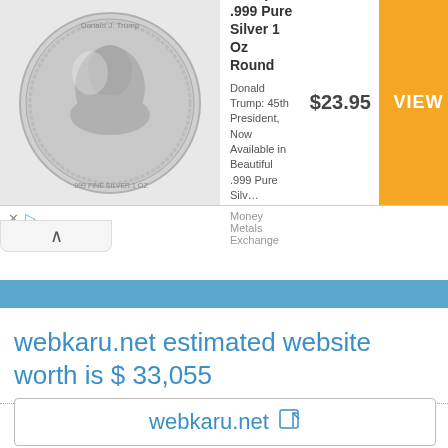[Figure (infographic): Advertisement banner: President Trump .999 Pure Silver 1 Oz Round coin product ad. Shows a silver coin with Trump portrait on the left, product title and description in the middle, price $23.95, and orange VIEW > button on the right. Source: Money Metals Exchange.]
webkaru.net estimated website worth is $ 33,055
webkaru.net